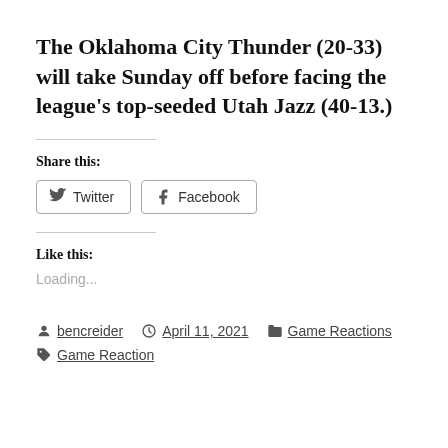The Oklahoma City Thunder (20-33) will take Sunday off before facing the league's top-seeded Utah Jazz (40-13.)
Share this:
Twitter  Facebook
Like this:
Loading...
bencreider  April 11, 2021  Game Reactions  Game Reaction